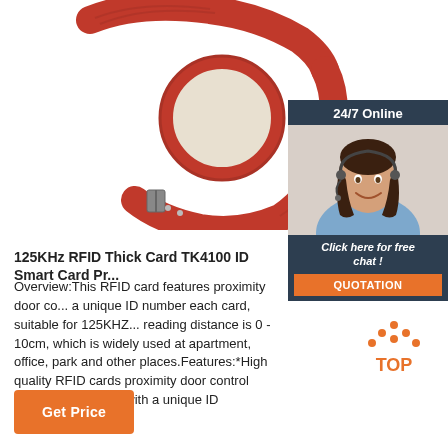[Figure (photo): Red RFID wristband product photo showing a red fabric wristband with a circular white/red RFID chip holder against a white background]
[Figure (photo): 24/7 Online chat panel showing a female customer service agent wearing a headset, with 'Click here for free chat!' text and a QUOTATION button]
125KHz RFID Thick Card TK4100 ID Smart Card Pr...
Overview:This RFID card features proximity door co... a unique ID number each card, suitable for 125KHZ... reading distance is 0 - 10cm, which is widely used at apartment, office, park and other places.Features:*High quality RFID cards proximity door control access.*Each card with a unique ID
[Figure (logo): TOP badge with orange dot pattern and TOP text in orange]
Get Price